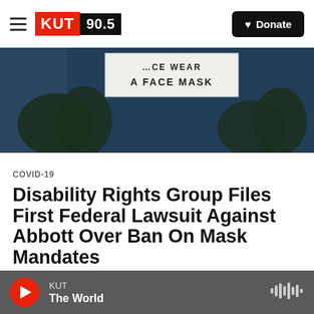KUT 90.5 — Donate
[Figure (photo): Car window with a sign reading 'PLEASE WEAR A FACE MASK', tree reflections visible in dark glass background]
COVID-19
Disability Rights Group Files First Federal Lawsuit Against Abbott Over Ban On Mask Mandates
Andrew Weber,  August 18, 2021
KUT — The World